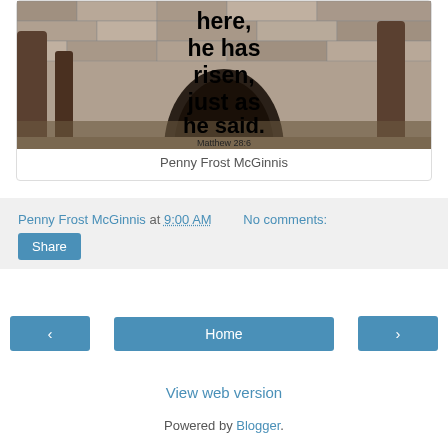[Figure (photo): Photo of stone arch and trees with overlaid text reading 'here, he has risen, just as he said. Matthew 28:6']
Penny Frost McGinnis
Penny Frost McGinnis at 9:00 AM   No comments:
Share
Home
View web version
Powered by Blogger.